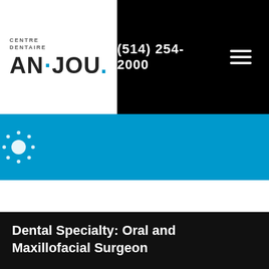[Figure (logo): Centre Dentaire Anjou logo with stylized text and blue dot]
(514) 254-2000
[Figure (illustration): Blue decorative tiles row with sun/dots icon on first tile]
Dental Specialty: Oral and Maxillofacial Surgeon